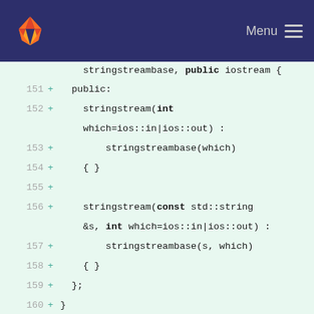Menu
[Figure (screenshot): GitLab code diff view showing C++ code lines 151-167, with added lines (marked +) showing stringstream class definition including constructors and inline int std::stringbuf::sync() function]
stringstreambase, public iostream {
151 + public:
152 + stringstream(int which=ios::in|ios::out) :
153 + stringstreambase(which)
154 + { }
155 +
156 + stringstream(const std::string &s, int which=ios::in|ios::out) :
157 + stringstreambase(s, which)
158 + { }
159 + };
160 + }
161 +
162 + inline int std::stringbuf::sync()
163 + {
164 + if((mode & ios::out) == 0)
165 + return EOF;
166 +
167 + streamsize n = pptr() - pbase();